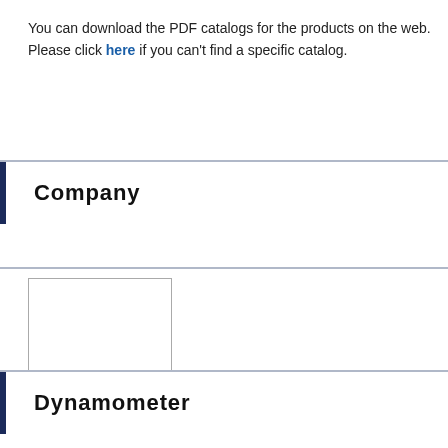You can download the PDF catalogs for the products on the web. Please click here if you can't find a specific catalog.
Company
[Figure (other): Blank thumbnail placeholder for Company Profile catalog PDF]
Company Profile
Filesize:1.4MB
Dynamometer